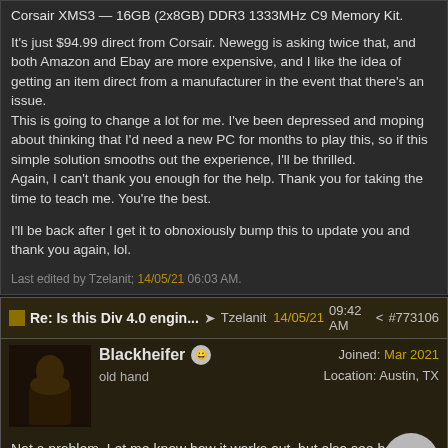Corsair XMS3 — 16GB (2x8GB) DDR3 1333MHz C9 Memory Kit.
It's just $94.99 direct from Corsair. Newegg is asking twice that, and both Amazon and Ebay are more expensive, and I like the idea of getting an item direct from a manufacturer in the event that there's an issue.
This is going to change a lot for me. I've been depressed and moping about thinking that I'd need a new PC for months to play this, so if this simple solution smooths out the experience, I'll be thrilled.
Again, I can't thank you enough for the help. Thank you for taking the time to teach me. You're the best.
I'll be back after I get it to obnoxiously bump this to update you and thank you again, lol.
Last edited by Tzelanit; 14/05/21 06:03 AM.
Re: Is this Div 4.0 engin... → Tzelanit 14/05/21 09:42 AM #773106
Blackheifer
old hand
Joined: Mar 2021
Location: Austin, TX
Not a problem. Let me know how it works out, but also see below.
[Figure (other): Broken image placeholder with text: The image you are requesting does not exist]